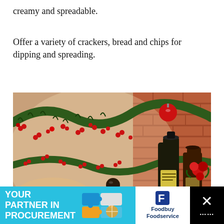creamy and spreadable.
Offer a variety of crackers, bread and chips for dipping and spreading.
[Figure (photo): Christmas scene with pine garland decorated with red berry tinsel, red ornament ball near a brick wall, and wine bottles with a yellow label in the background along with red roses.]
[Figure (infographic): Advertisement banner: 'YOUR PARTNER IN PROCUREMENT' with puzzle piece graphic, Foodbuy Foodservice logo, and a close button (X) on the right.]